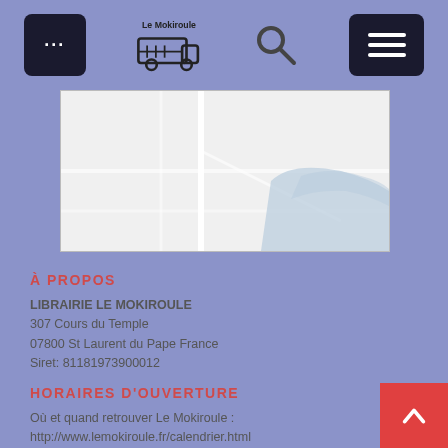… [nav bar with menu, Le Mokiroule logo, search, hamburger menu]
[Figure (map): Partial street map showing roads and a blue water area (river/lake), white background with light gray road lines and a blue region in the right portion.]
À PROPOS
LIBRAIRIE LE MOKIROULE
307 Cours du Temple
07800 St Laurent du Pape France
Siret: 81181973900012
HORAIRES D'OUVERTURE
Où et quand retrouver Le Mokiroule :
http://www.lemokiroule.fr/calendrier.html
CONTACT
☎ 06 80 23 26 86